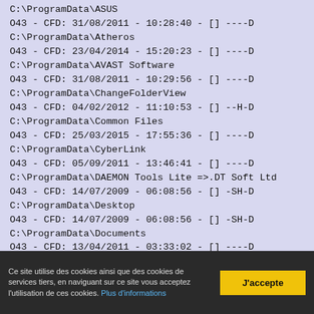C:\ProgramData\ASUS
O43 - CFD: 31/08/2011 - 10:28:40 - [] ----D
C:\ProgramData\Atheros
O43 - CFD: 23/04/2014 - 15:20:23 - [] ----D
C:\ProgramData\AVAST Software
O43 - CFD: 31/08/2011 - 10:29:56 - [] ----D
C:\ProgramData\ChangeFolderView
O43 - CFD: 04/02/2012 - 11:10:53 - [] --H-D
C:\ProgramData\Common Files
O43 - CFD: 25/03/2015 - 17:55:36 - [] ----D
C:\ProgramData\CyberLink
O43 - CFD: 05/09/2011 - 13:46:41 - [] ----D
C:\ProgramData\DAEMON Tools Lite =>.DT Soft Ltd
O43 - CFD: 14/07/2009 - 06:08:56 - [] -SH-D
C:\ProgramData\Desktop
O43 - CFD: 14/07/2009 - 06:08:56 - [] -SH-D
C:\ProgramData\Documents
O43 - CFD: 13/04/2011 - 03:33:02 - [] ----D
C:\ProgramData\Downloaded Installations
Ce site utilise des cookies ainsi que des cookies de services tiers, en naviguant sur ce site vous acceptez l'utilisation de ces cookies. Plus d'informations